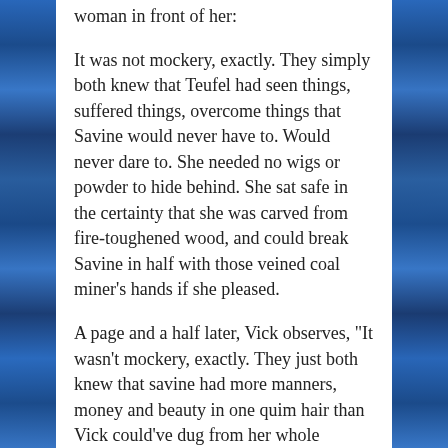woman in front of her:
It was not mockery, exactly. They simply both knew that Teufel had seen things, suffered things, overcome things that Savine would never have to. Would never dare to. She needed no wigs or powder to hide behind. She sat safe in the certainty that she was carved from fire-toughened wood, and could break Savine in half with those veined coal miner’s hands if she pleased.
A page and a half later, Vick observes, “It wasn’t mockery, exactly. They just both knew that savine had more manners, money and beauty in one quim hair than Vick could’ve dug from her whole acquaintance. She sat safe on invisible…